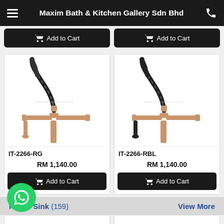Maxim Bath & Kitchen Gallery Sdn Bhd
[Figure (screenshot): Add to Cart buttons row at top (partial product cards from previous row)]
[Figure (photo): Kitchen faucet IT-2266-RG with rose gold and black spring coil design]
IT-2266-RG
RM 1,140.00
Add to Cart
[Figure (photo): Kitchen faucet IT-2266-RBL with rose gold and matte black spring coil design]
IT-2266-RBL
RM 1,140.00
Add to Cart
Kitchen Sink (159)
View More